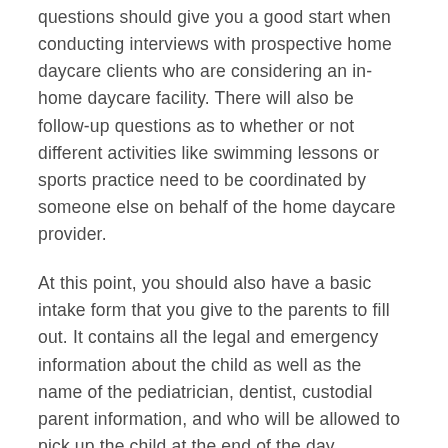questions should give you a good start when conducting interviews with prospective home daycare clients who are considering an in-home daycare facility. There will also be follow-up questions as to whether or not different activities like swimming lessons or sports practice need to be coordinated by someone else on behalf of the home daycare provider.
At this point, you should also have a basic intake form that you give to the parents to fill out. It contains all the legal and emergency information about the child as well as the name of the pediatrician, dentist, custodial parent information, and who will be allowed to pick up the child at the end of the day.
If you're a home daycare provider, it is important that